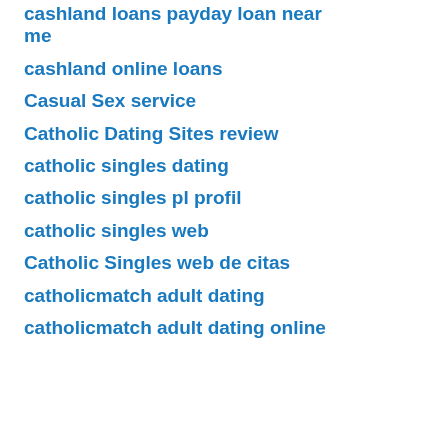cashland loans payday loan near me
cashland online loans
Casual Sex service
Catholic Dating Sites review
catholic singles dating
catholic singles pl profil
catholic singles web
Catholic Singles web de citas
catholicmatch adult dating
catholicmatch adult dating online